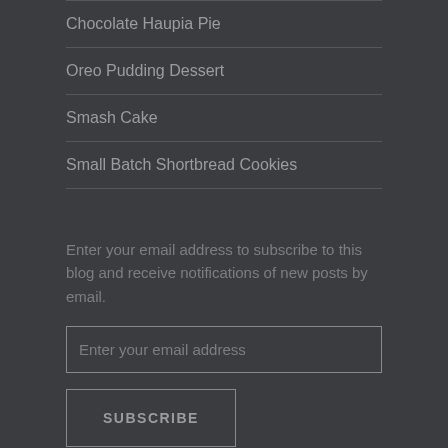Chocolate Haupia Pie
Oreo Pudding Dessert
Smash Cake
Small Batch Shortbread Cookies
Enter your email address to subscribe to this blog and receive notifications of new posts by email.
Enter your email address
SUBSCRIBE
Join 505 other followers